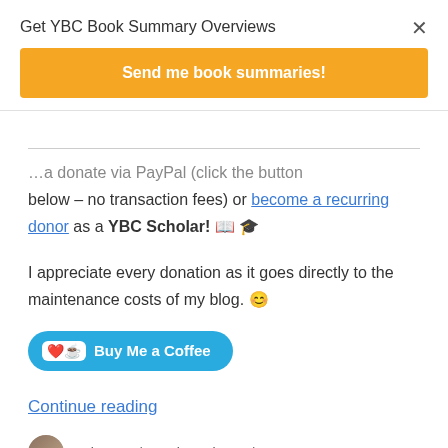Get YBC Book Summary Overviews
Send me book summaries!
...below – no transaction fees) or become a recurring donor as a YBC Scholar! 📖 🎓
I appreciate every donation as it goes directly to the maintenance costs of my blog. 😊
Buy Me a Coffee
Continue reading
yolocruz / Book Reviews / 3 Comments